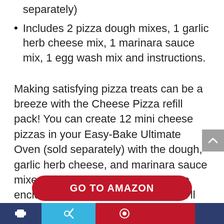separately)
Includes 2 pizza dough mixes, 1 garlic herb cheese mix, 1 marinara sauce mix, 1 egg wash mix and instructions.
Making satisfying pizza treats can be a breeze with the Cheese Pizza refill pack! You can create 12 mini cheese pizzas in your Easy-Bake Ultimate Oven (sold separately) with the dough, garlic herb cheese, and marinara sauce mixes in this pack. Simply follow the enclosed instructions and voilà! You'll have delicious, tasty snacks to share! Easy-Bake and all related terms are trademarks of Hasbro.